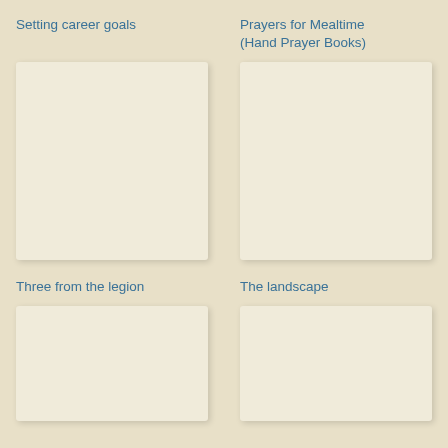Setting career goals
Prayers for Mealtime (Hand Prayer Books)
[Figure (illustration): Book cover placeholder - Setting career goals]
[Figure (illustration): Book cover placeholder - Prayers for Mealtime]
Three from the legion
The landscape
[Figure (illustration): Book cover placeholder - Three from the legion]
[Figure (illustration): Book cover placeholder - The landscape]